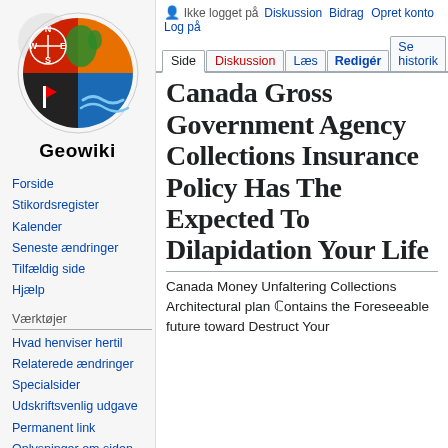[Figure (logo): Geowiki logo with compass rose, Denmark map, flag, and blue wave design]
Geowiki
Forside
Stikordsregister
Kalender
Seneste ændringer
Tilfældig side
Hjælp
Værktøjer
Hvad henviser hertil
Relaterede ændringer
Specialsider
Udskriftsvenlig udgave
Permanent link
Oplysninger om siden
Ikke logget på  Diskussion  Bidrag  Opret konto  Log på
Canada Gross Government Agency Collections Insurance Policy Has The Expected To Dilapidation Your Life
Canada Money Unfaltering Collections Architectural plan ℂontains the Foreseeable future toward Destruct Your